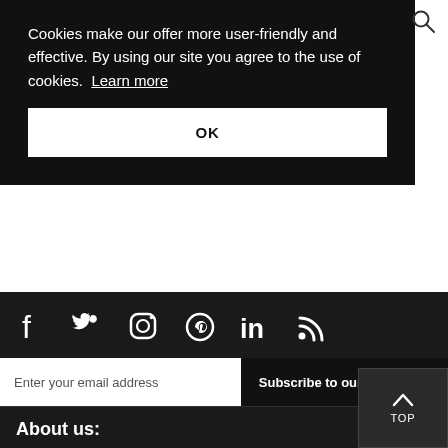[Figure (other): Search icon (magnifying glass) in top right corner]
Cookies make our offer more user-friendly and effective. By using our site you agree to the use of cookies. Learn more
OK
[Figure (other): Social media icons row: Facebook, Twitter, Instagram, Pinterest, LinkedIn, RSS]
Enter your email address
Subscribe to our newsletter
TOP
About us: